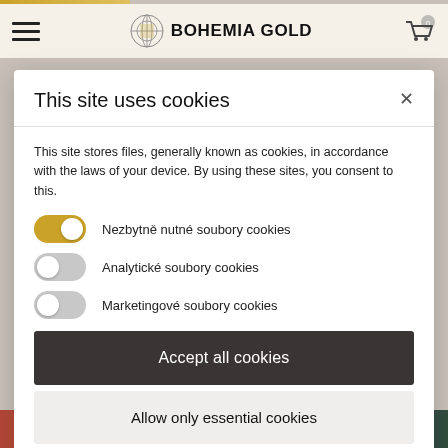[Figure (screenshot): Bohemia Gold website header with hamburger menu, logo, and cart icon on light beige background]
This site uses cookies
This site stores files, generally known as cookies, in accordance with the laws of your device. By using these sites, you consent to this.
Nezbytně nutné soubory cookies (toggle: on)
Analytické soubory cookies (toggle: off)
Marketingové soubory cookies (toggle: off)
Accept all cookies
Allow only essential cookies
More information